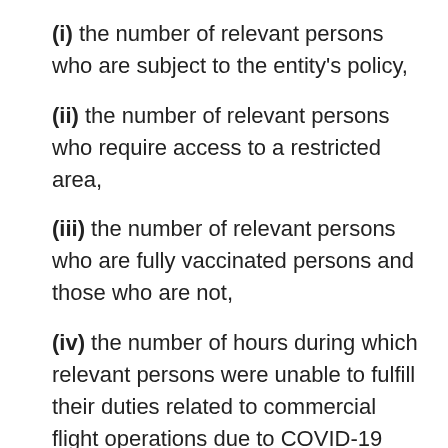(i) the number of relevant persons who are subject to the entity's policy,
(ii) the number of relevant persons who require access to a restricted area,
(iii) the number of relevant persons who are fully vaccinated persons and those who are not,
(iv) the number of hours during which relevant persons were unable to fulfill their duties related to commercial flight operations due to COVID-19